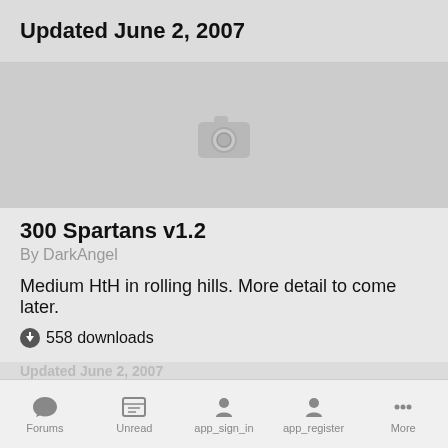Updated June 2, 2007
[Figure (photo): Placeholder image with camera icon for 300 Spartans v1.2 map]
300 Spartans v1.2
By DarkAngel
Medium HtH in rolling hills. More detail to come later.
558 downloads
(0 reviews)
Forums   Unread   app_sign_in   app_register   More